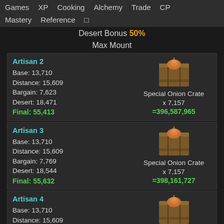Games  XP  Cooking  Alchemy  Trade  CP  Mastery  Reference  □
Desert Bonus 50%
Max Mount
Artisan 2
Base: 13,710
Distance: 15,609
Bargain: 7,623
Desert: 18,471
Final: 55,413
Special Onion Crate x 7,157 =396,587,965
Artisan 3
Base: 13,710
Distance: 15,609
Bargain: 7,769
Desert: 18,544
Final: 55,632
Special Onion Crate x 7,157 =398,161,727
Artisan 4
Base: 13,710
Distance: 15,609
Bargain: 7,916
Desert: 18,617
Special Onion Crate x 7,157